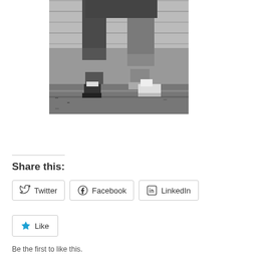[Figure (photo): Black and white photograph showing the lower bodies and legs of two people standing near a stone wall, wearing casual clothing and shoes]
Share this:
Twitter  Facebook  LinkedIn
Like
Be the first to like this.